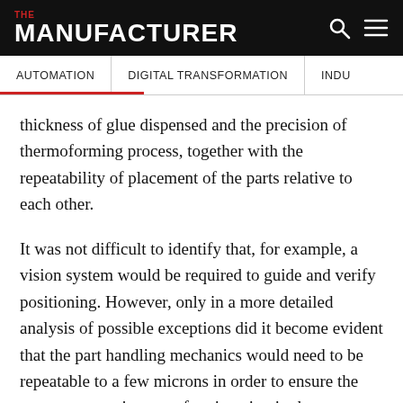THE MANUFACTURER
AUTOMATION   DIGITAL TRANSFORMATION   INDU
thickness of glue dispensed and the precision of thermoforming process, together with the repeatability of placement of the parts relative to each other.
It was not difficult to identify that, for example, a vision system would be required to guide and verify positioning. However, only in a more detailed analysis of possible exceptions did it become evident that the part handling mechanics would need to be repeatable to a few microns in order to ensure the necessary consistency of registration in the assembled product.
Understandably, this required exceptional design effort,